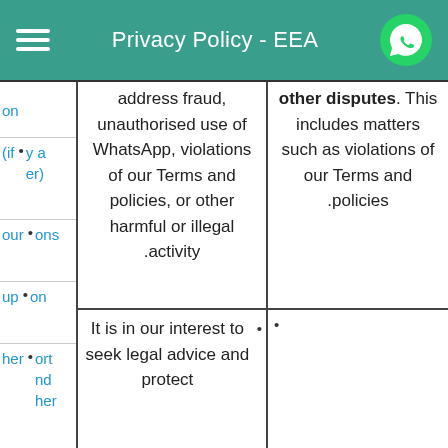Privacy Policy - EEA
|  |  |  |
| --- | --- | --- |
| on
(if • y a er) | address fraud, unauthorised use of WhatsApp, violations of our Terms and policies, or other harmful or illegal activity. | other disputes. This includes matters such as violations of our Terms and policies. |
| our • ons
up • on
her • ort nd her | It is in our interest to seek legal advice and protect | • |